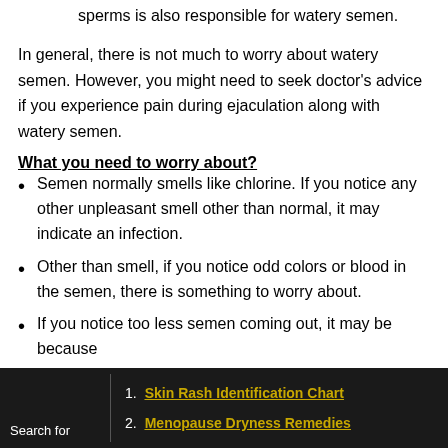testicles, particularly when you exercise. The low count of sperms is also responsible for watery semen.
In general, there is not much to worry about watery semen. However, you might need to seek doctor's advice if you experience pain during ejaculation along with watery semen.
What you need to worry about?
Semen normally smells like chlorine. If you notice any other unpleasant smell other than normal, it may indicate an infection.
Other than smell, if you notice odd colors or blood in the semen, there is something to worry about.
If you notice too less semen coming out, it may be because
Search for
1. Skin Rash Identification Chart
2. Menopause Dryness Remedies